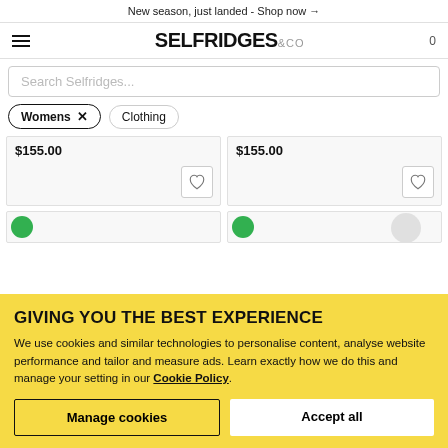New season, just landed - Shop now →
[Figure (logo): Selfridges & Co logo with hamburger menu icon and cart counter (0)]
Search Selfridges...
Womens ×   Clothing
$155.00
$155.00
[Figure (screenshot): Partial product cards with green sale badges visible]
GIVING YOU THE BEST EXPERIENCE
We use cookies and similar technologies to personalise content, analyse website performance and tailor and measure ads. Learn exactly how we do this and manage your setting in our Cookie Policy.
Manage cookies
Accept all